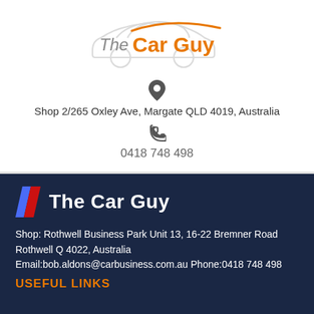[Figure (logo): The Car Guy logo — orange and grey car silhouette with italic 'The' in grey and 'Car Guy' in orange bold text]
Shop 2/265 Oxley Ave, Margate QLD 4019, Australia
0418 748 498
[Figure (logo): BMW M-stripe colored diagonal stripes logo followed by 'The Car Guy' in bold white text]
Shop: Rothwell Business Park Unit 13, 16-22 Bremner Road Rothwell Q 4022, Australia Email:bob.aldons@carbusiness.com.au Phone:0418 748 498
USEFUL LINKS